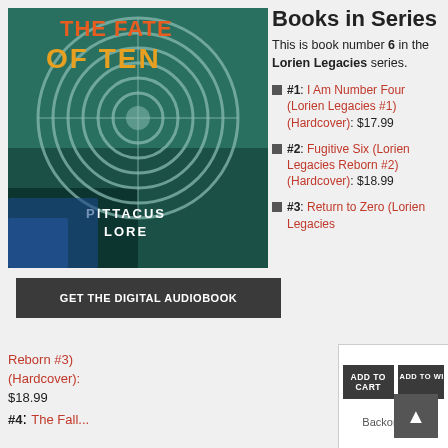[Figure (photo): Book cover of 'The Fate of Ten' by Pittacus Lore, showing aerial view of circular maze-like structure in teal/green tones with the title text in red/orange at top and author name at bottom.]
Books in Series
This is book number 6 in the Lorien Legacies series.
#1: I Am Number Four (Lorien Legacies #1) (Hardcover): $17.99
#2: Fugitive Six (Lorien Legacies Reborn #2) (Hardcover): $18.99
#3: Return to Zero (Lorien Legacies Reborn #3) (Hardcover): $18.99
#4: The Fall...
GET THE DIGITAL AUDIOBOOK
Reborn #3) (Hardcover): $18.99
ADD TO CART
ADD TO WISH LIST
Backordered